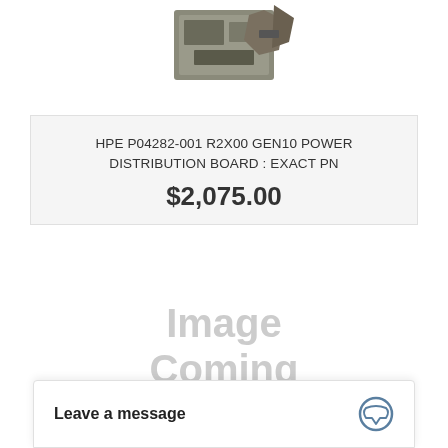[Figure (photo): Product photo of HPE P04282-001 R2X00 GEN10 Power Distribution Board component, partially visible at top of page]
HPE P04282-001 R2X00 GEN10 POWER DISTRIBUTION BOARD : EXACT PN
$2,075.00
[Figure (photo): Image Coming Soon placeholder graphic with light gray text]
Leave a message